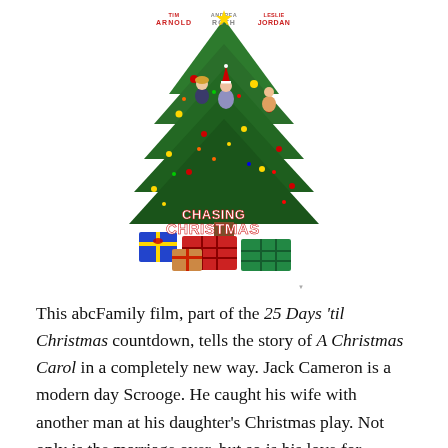[Figure (illustration): Movie poster for 'Chasing Christmas' featuring Tim Arnold, Andrea Roth, and Leslie Jordan. Shows characters in front of a decorated Christmas tree with wrapped gifts at the bottom. Text reads 'Chasing Christmas' in stylized font.]
This abcFamily film, part of the 25 Days 'til Christmas countdown, tells the story of A Christmas Carol in a completely new way. Jack Cameron is a modern day Scrooge. He caught his wife with another man at his daughter's Christmas play. Not only is the marriage over, but so is his love for Christmas and Christmas spirit. At the Bureau of Yuletide Affairs (BYA) the company is reviewing